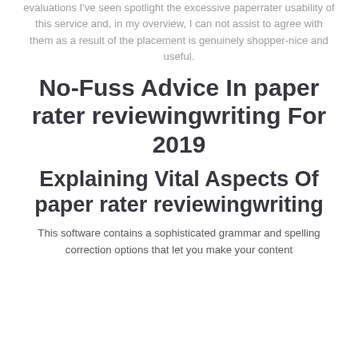evaluations I've seen spotlight the excessive paperrater usability of this service and, in my overview, I can not assist to agree with them as a result of the placement is genuinely shopper-nice and useful.
No-Fuss Advice In paper rater reviewingwriting For 2019
Explaining Vital Aspects Of paper rater reviewingwriting
This software contains a sophisticated grammar and spelling correction options that let you make your content